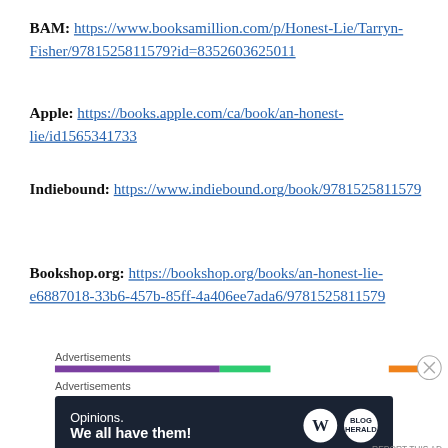BAM: https://www.booksamillion.com/p/Honest-Lie/Tarryn-Fisher/9781525811579?id=8352603625011
Apple: https://books.apple.com/ca/book/an-honest-lie/id1565341733
Indiebound: https://www.indiebound.org/book/9781525811579
Bookshop.org: https://bookshop.org/books/an-honest-lie-e6887018-33b6-457b-85ff-4a406ee7ada6/9781525811579
Advertisements
[Figure (other): Advertisements banner with purple, green, and orange color bars, and a WordPress 'Opinions. We all have them!' ad box with WordPress and blog logos]
REPORT THIS AD